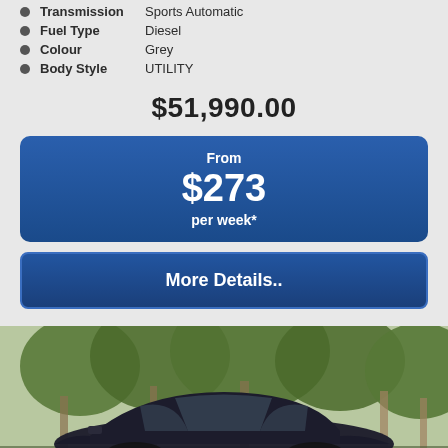Transmission   Sports Automatic
Fuel Type   Diesel
Colour   Grey
Body Style   UTILITY
$51,990.00
From $273 per week*
More Details..
[Figure (photo): Dark-coloured SUV/utility vehicle parked outdoors with trees in background]